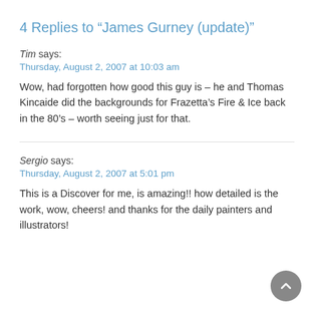4 Replies to “James Gurney (update)”
Tim says:
Thursday, August 2, 2007 at 10:03 am
Wow, had forgotten how good this guy is – he and Thomas Kincaide did the backgrounds for Frazetta’s Fire & Ice back in the 80’s – worth seeing just for that.
Sergio says:
Thursday, August 2, 2007 at 5:01 pm
This is a Discover for me, is amazing!! how detailed is the work, wow, cheers! and thanks for the daily painters and illustrators!